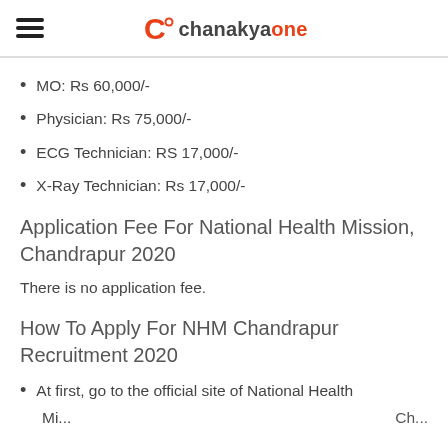chanakyaone
MO: Rs 60,000/-
Physician: Rs 75,000/-
ECG Technician: RS 17,000/-
X-Ray Technician: Rs 17,000/-
Application Fee For National Health Mission, Chandrapur 2020
There is no application fee.
How To Apply For NHM Chandrapur Recruitment 2020
At first, go to the official site of National Health Mission...